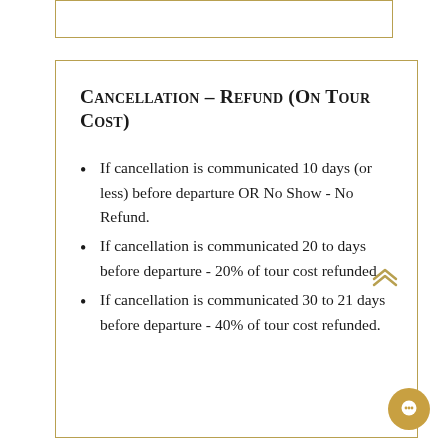Cancellation – Refund (On Tour Cost)
If cancellation is communicated 10 days (or less) before departure OR No Show - No Refund.
If cancellation is communicated 20 to days before departure - 20% of tour cost refunded.
If cancellation is communicated 30 to 21 days before departure - 40% of tour cost refunded.